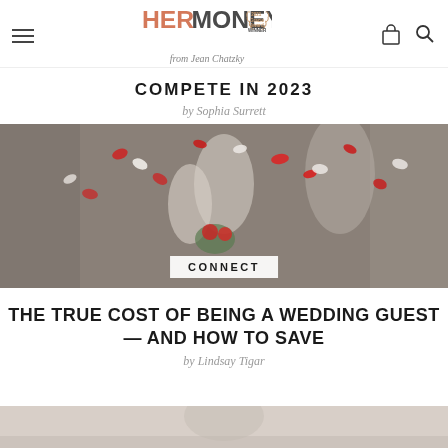HER MONEY from Jean Chatzky — 2021 Gracie Award WINNER
COMPETE IN 2023
by Sophia Surrett
[Figure (photo): Wedding photo showing a bride and groom with guests throwing red and white flower petals/confetti. A 'CONNECT' category label overlays the bottom center of the image.]
THE TRUE COST OF BEING A WEDDING GUEST — AND HOW TO SAVE
by Lindsay Tigar
[Figure (photo): Partial view of another article's photo at the bottom of the page, showing a light-toned interior scene.]